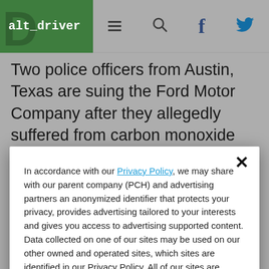alt_driver [hamburger menu] [search] [facebook] [twitter]
Two police officers from Austin, Texas are suing the Ford Motor Company after they allegedly suffered from carbon monoxide poisoning from Ford police SUVs.

The Austin police department has pulled about 400 Ford Explorers off the streets, and the
In accordance with our Privacy Policy, we may share with our parent company (PCH) and advertising partners an anonymized identifier that protects your privacy, provides advertising tailored to your interests and gives you access to advertising supported content. Data collected on one of our sites may be used on our other owned and operated sites, which sites are identified in our Privacy Policy. All of our sites are governed by the same Privacy Policy, and by proceeding to access this site, you are consenting to that Privacy Policy.